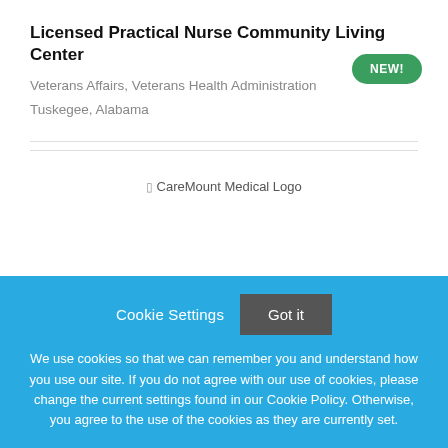Licensed Practical Nurse Community Living Center
Veterans Affairs, Veterans Health Administration
Tuskegee, Alabama
[Figure (other): Green NEW! badge/button]
[Figure (logo): CareMount Medical Logo placeholder image]
Cookie Settings   Got it
We use cookies so that we can remember you and understand how you use our site. If you do not agree with our use of cookies, please change the current settings found in our Cookie Policy. Otherwise, you agree to the use of the cookies as they are currently set.